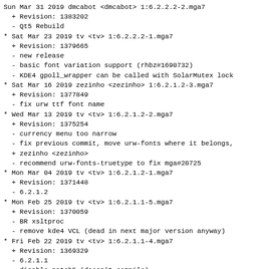Sun Mar 31 2019 dmcabot <dmcabot> 1:6.2.2.2-2.mga7
  + Revision: 1383202
  - Qt5 Rebuild
Sat Mar 23 2019 tv <tv> 1:6.2.2.2-1.mga7
  + Revision: 1379665
  - new release
  - basic font variation support (rhbz#1690732)
  - KDE4 gpoll_wrapper can be called with SolarMutex lock
Sat Mar 16 2019 zezinho <zezinho> 1:6.2.1.2-3.mga7
  + Revision: 1377849
  - fix urw ttf font name
Wed Mar 13 2019 tv <tv> 1:6.2.1.2-2.mga7
  + Revision: 1375254
  - currency menu too narrow
  - fix previous commit, move urw-fonts where it belongs,
  + zezinho <zezinho>
  - recommend urw-fonts-truetype to fix mga#20725
Mon Mar 04 2019 tv <tv> 1:6.2.1.2-1.mga7
  + Revision: 1371448
  - 6.2.1.2
Mon Feb 25 2019 tv <tv> 1:6.2.1.1-5.mga7
  + Revision: 1370059
  - BR xsltproc
  - remove kde4 VCL (dead in next major version anyway)
Fri Feb 22 2019 tv <tv> 1:6.2.1.1-4.mga7
  + Revision: 1369329
  - 6.2.1.1
  - disable patch5 (doesn't compile)
  - menu of currency combobox is too wide
  - theme unwanted tab into invisibilty (tdf#122623)
Mon Feb 18 2019 wally <wally> 1:6.2.0.3-2.mga7